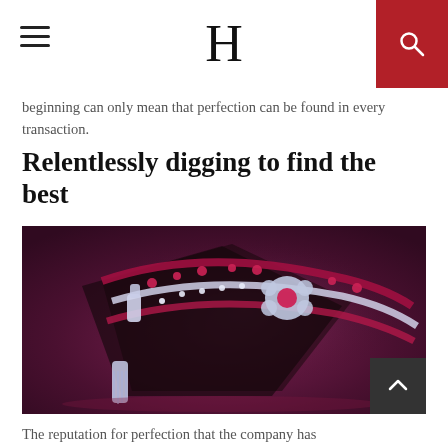H
beginning can only mean that perfection can be found in every transaction.
Relentlessly digging to find the best
[Figure (photo): A luxurious necklace with ruby and diamond stones displayed on a dark reflective surface with purple/maroon background]
The reputation for perfection that the company has